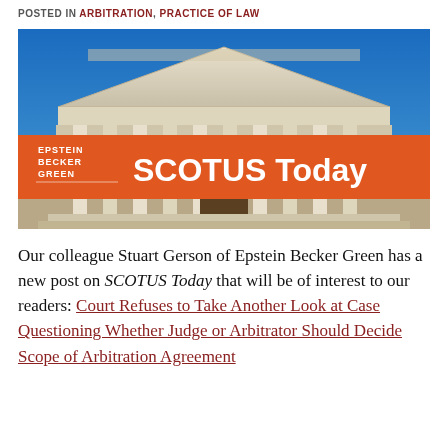POSTED IN ARBITRATION, PRACTICE OF LAW
[Figure (photo): Photo of the US Supreme Court building with classical columns and pediment, overlaid with an orange banner reading 'SCOTUS Today' and the Epstein Becker Green logo]
Our colleague Stuart Gerson of Epstein Becker Green has a new post on SCOTUS Today that will be of interest to our readers: Court Refuses to Take Another Look at Case Questioning Whether Judge or Arbitrator Should Decide Scope of Arbitration Agreement